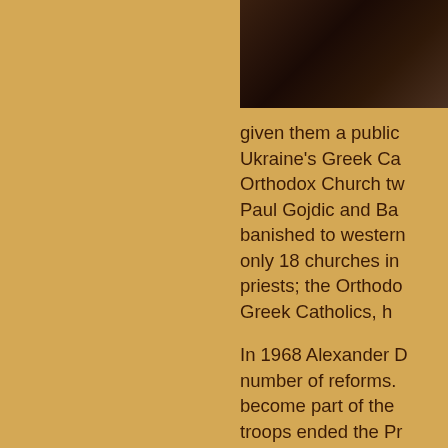[Figure (photo): Dark photograph, partially visible in upper right corner of the page]
given them a public Ukraine's Greek Ca Orthodox Church tw Paul Gojdic and Ba banished to western only 18 churches in priests; the Orthodo Greek Catholics, h
In 1968 Alexander D number of reforms. become part of the troops ended the Pr services to accomm Bishop Hirka was fi southern end of Pre Cathedral of St. Joh reception room at h totally wrecked the